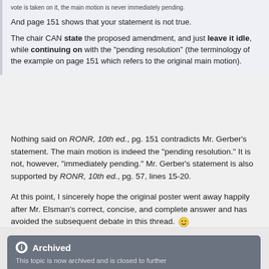vote is taken on it, the main motion is never immediately pending.
And page 151 shows that your statement is not true.
The chair CAN state the proposed amendment, and just leave it idle, while continuing on with the "pending resolution" (the terminology of the example on page 151 which refers to the original main motion).
Nothing said on RONR, 10th ed., pg. 151 contradicts Mr. Gerber's statement. The main motion is indeed the "pending resolution." It is not, however, "immediately pending." Mr. Gerber's statement is also supported by RONR, 10th ed., pg. 57, lines 15-20.
At this point, I sincerely hope the original poster went away happily after Mr. Elsman's correct, concise, and complete answer and has avoided the subsequent debate in this thread. 🙂
Archived
This topic is now archived and is closed to further